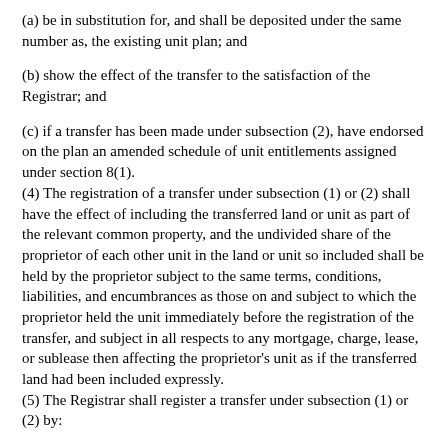(a) be in substitution for, and shall be deposited under the same number as, the existing unit plan; and
(b) show the effect of the transfer to the satisfaction of the Registrar; and
(c) if a transfer has been made under subsection (2), have endorsed on the plan an amended schedule of unit entitlements assigned under section 8(1).
(4) The registration of a transfer under subsection (1) or (2) shall have the effect of including the transferred land or unit as part of the relevant common property, and the undivided share of the proprietor of each other unit in the land or unit so included shall be held by the proprietor subject to the same terms, conditions, liabilities, and encumbrances as those on and subject to which the proprietor held the unit immediately before the registration of the transfer, and subject in all respects to any mortgage, charge, lease, or sublease then affecting the proprietor's unit as if the transferred land had been included expressly.
(5) The Registrar shall register a transfer under subsection (1) or (2) by:
(a) entering a memorial on the existing folio of the Register for the land the subject of the transfer and then cancelling that folio; and